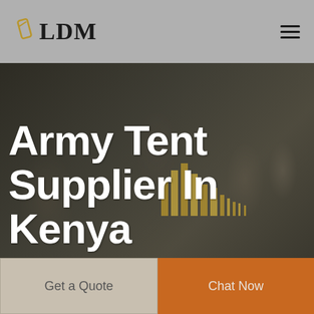LDM
[Figure (photo): Dark warehouse/factory background with workers, serving as hero image for Army Tent Supplier In Kenya webpage]
Army Tent Supplier In Kenya
Get a Quote
Chat Now